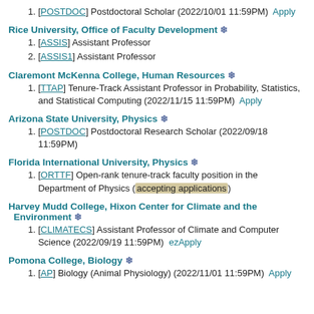1. [POSTDOC] Postdoctoral Scholar (2022/10/01 11:59PM)  Apply
Rice University, Office of Faculty Development ❄
1. [ASSIS] Assistant Professor
2. [ASSIS1] Assistant Professor
Claremont McKenna College, Human Resources ❄
1. [TTAP] Tenure-Track Assistant Professor in Probability, Statistics, and Statistical Computing (2022/11/15 11:59PM)  Apply
Arizona State University, Physics ❄
1. [POSTDOC] Postdoctoral Research Scholar (2022/09/18 11:59PM)
Florida International University, Physics ❄
1. [ORTTF] Open-rank tenure-track faculty position in the Department of Physics (accepting applications)
Harvey Mudd College, Hixon Center for Climate and the Environment ❄
1. [CLIMATECS] Assistant Professor of Climate and Computer Science (2022/09/19 11:59PM)  ezApply
Pomona College, Biology ❄
1. [AP] Biology (Animal Physiology) (2022/11/01 11:59PM)  Apply